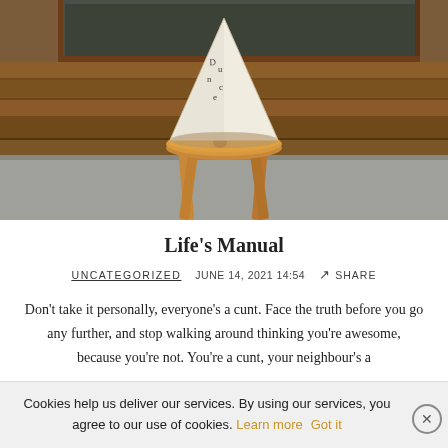[Figure (photo): A dunce cap (white cone with 'dunce' written on it) sitting on top of a wooden stool, against a rustic wooden wall background with a chalkboard visible.]
Life's Manual
UNCATEGORIZED   JUNE 14, 2021 14:54   ↗ SHARE
Don't take it personally, everyone's a cunt. Face the truth before you go any further, and stop walking around thinking you're awesome, because you're not. You're a cunt, your neighbour's a
Cookies help us deliver our services. By using our services, you agree to our use of cookies. Learn more   Got it